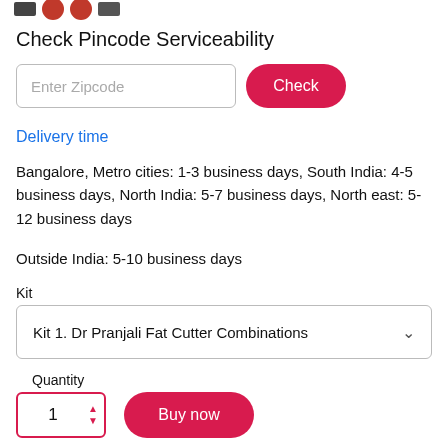Check Pincode Serviceability
Enter Zipcode
Check
Delivery time
Bangalore, Metro cities: 1-3 business days, South India: 4-5 business days, North India: 5-7 business days, North east: 5-12 business days
Outside India: 5-10 business days
Kit
Kit 1. Dr Pranjali Fat Cutter Combinations
Quantity
1
Buy now